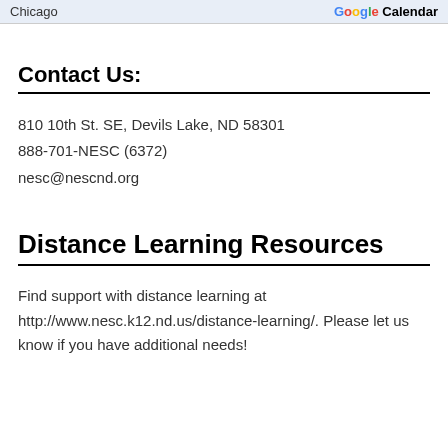Chicago | Google Calendar
Contact Us:
810 10th St. SE, Devils Lake, ND 58301
888-701-NESC (6372)
nesc@nescnd.org
Distance Learning Resources
Find support with distance learning at http://www.nesc.k12.nd.us/distance-learning/. Please let us know if you have additional needs!